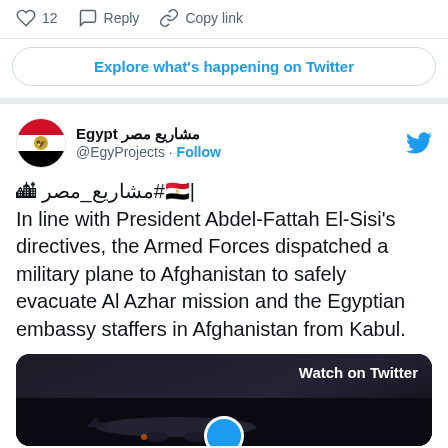♡ 12   Reply   Copy link
Explore what's happening on Twitter
Egypt مشاريع مصر @EgyProjects · Follow
🏙 |🇪🇬#مشاريع_مصر
In line with President Abdel-Fattah El-Sisi's directives, the Armed Forces dispatched a military plane to Afghanistan to safely evacuate Al Azhar mission and the Egyptian embassy staffers in Afghanistan from Kabul.
[Figure (screenshot): Dark video thumbnail showing a military plane on tarmac with 'Watch on Twitter' label in white text on dark background]